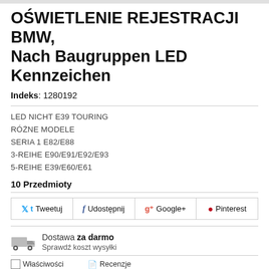OŚWIETLENIE REJESTRACJI BMW, Nach Baugruppen LED Kennzeichen
Indeks: 1280192
LED NICHT E39 TOURING
RÓŻNE MODELE
SERIA 1 E82/E88
3-REIHE E90/E91/E92/E93
5-REIHE E39/E60/E61
10 Przedmioty
Tweetuj  Udostępnij  Google+  Pinterest
Dostawa za darmo
Sprawdź koszt wysyłki